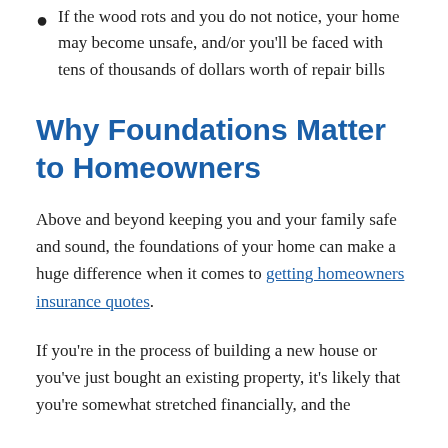If the wood rots and you do not notice, your home may become unsafe, and/or you'll be faced with tens of thousands of dollars worth of repair bills
Why Foundations Matter to Homeowners
Above and beyond keeping you and your family safe and sound, the foundations of your home can make a huge difference when it comes to getting homeowners insurance quotes.
If you're in the process of building a new house or you've just bought an existing property, it's likely that you're somewhat stretched financially, and the